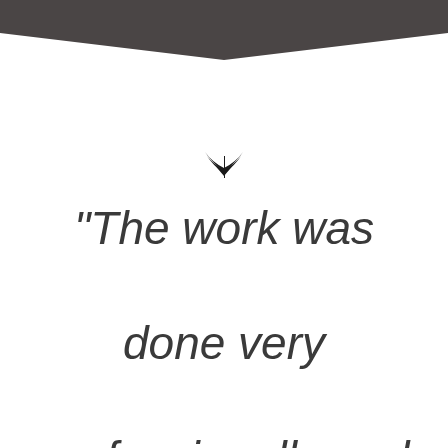[Figure (illustration): Dark gray chevron/banner shape at the top of the page]
[Figure (illustration): Decorative floral/leaf ornament symbol centered on the page]
“The work was done very professionally and